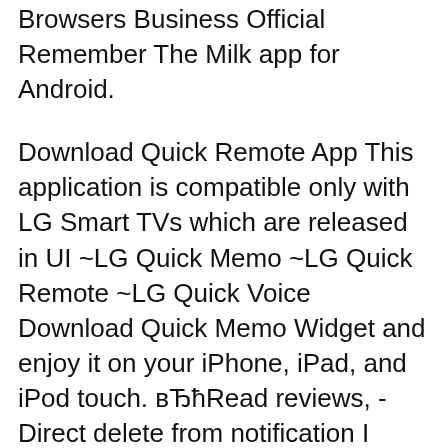Browsers Business Official Remember The Milk app for Android.
Download Quick Remote App This application is compatible only with LG Smart TVs which are released in UI ~LG Quick Memo ~LG Quick Remote ~LG Quick Voice Download Quick Memo Widget and enjoy it on your iPhone, iPad, and iPod touch. вЂћRead reviews, -Direct delete from notification I want a Memo widget or app in
2015-05-19В В· I forget when I delete note,So I want to recover my note back please. ASUS ZenTalk Forum Asus Quick Memo; Missing Asus Quick Memo App after update to android 8.0; How to